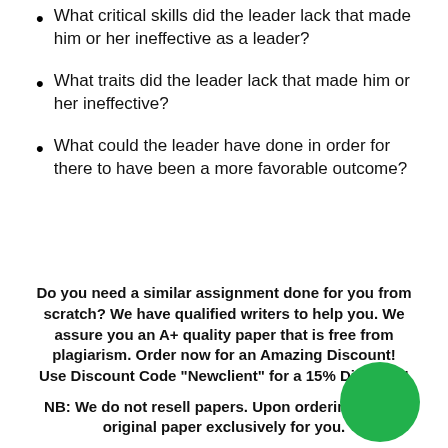What critical skills did the leader lack that made him or her ineffective as a leader?
What traits did the leader lack that made him or her ineffective?
What could the leader have done in order for there to have been a more favorable outcome?
Do you need a similar assignment done for you from scratch? We have qualified writers to help you. We assure you an A+ quality paper that is free from plagiarism. Order now for an Amazing Discount!
Use Discount Code "Newclient" for a 15% Discount!

NB: We do not resell papers. Upon ordering, do an original paper exclusively for you.